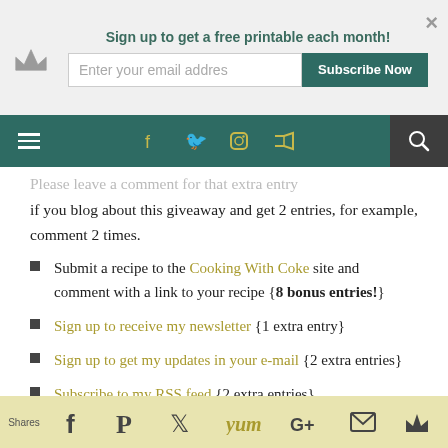Sign up to get a free printable each month!
if you blog about this giveaway and get 2 entries, for example, comment 2 times.
Submit a recipe to the Cooking With Coke site and comment with a link to your recipe {8 bonus entries!}
Sign up to receive my newsletter {1 extra entry}
Sign up to get my updates in your e-mail {2 extra entries}
Subscribe to my RSS feed {2 extra entries}
Shares